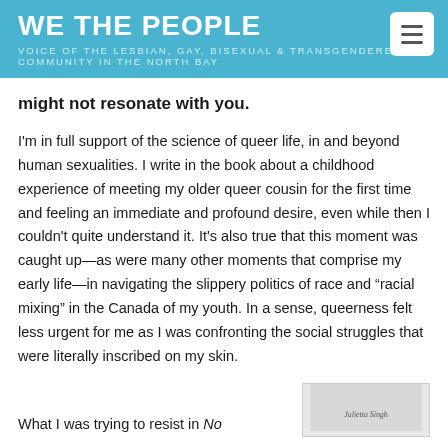WE THE PEOPLE
VOICE OF THE LESBIAN, GAY, BISEXUAL & TRANSGENDERED COMMUNITY IN THE NORTH BAY
might not resonate with you.
I'm in full support of the science of queer life, in and beyond human sexualities. I write in the book about a childhood experience of meeting my older queer cousin for the first time and feeling an immediate and profound desire, even while then I couldn't quite understand it. It's also true that this moment was caught up—as were many other moments that comprise my early life—in navigating the slippery politics of race and “racial mixing” in the Canada of my youth. In a sense, queerness felt less urgent for me as I was confronting the social struggles that were literally inscribed on my skin.
What I was trying to resist in No
[Figure (photo): Partial image of a book cover or photo with caption 'Julietta Singh']